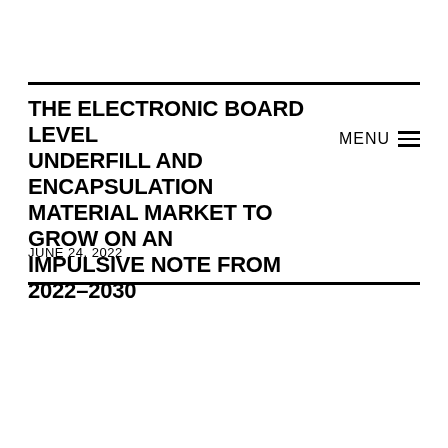THE ELECTRONIC BOARD LEVEL UNDERFILL AND ENCAPSULATION MATERIAL MARKET TO GROW ON AN IMPULSIVE NOTE FROM 2022–2030
JUNE 24, 2022